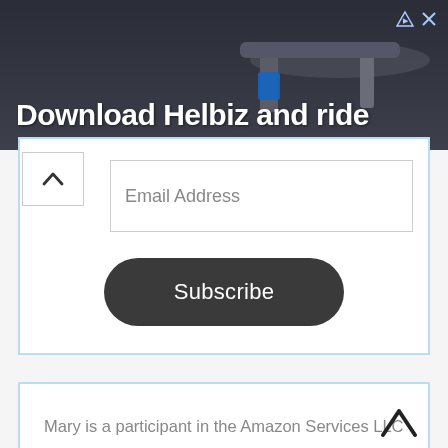[Figure (photo): Advertisement banner showing scooter handlebars with text 'Download Helbiz and ride']
Email Address
Subscribe
Mary is a participant in the Amazon Services LLC Associates Program, an affiliate advertising program designed to provide a means for her to earn fees by linking to Amazon.com and affiliated sites.